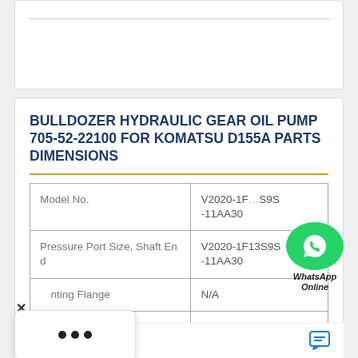BULLDOZER HYDRAULIC GEAR OIL PUMP 705-52-22100 FOR KOMATSU D155A PARTS DIMENSIONS
| Property | Value |
| --- | --- |
| Model No. | V2020-1F13S9S-11AA30 |
| Pressure Port Size, Shaft End | V2020-1F13S9S-11AA30 |
| ...nting Flange | N/A |
| Port Orientation - Cover End | 1 5/16 in |
|  | 0.728 in |